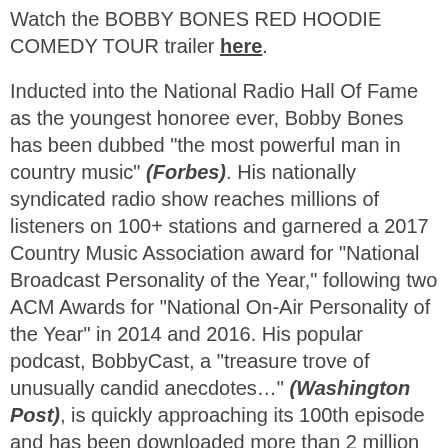Watch the BOBBY BONES RED HOODIE COMEDY TOUR trailer here.
Inducted into the National Radio Hall Of Fame as the youngest honoree ever, Bobby Bones has been dubbed "the most powerful man in country music" (Forbes). His nationally syndicated radio show reaches millions of listeners on 100+ stations and garnered a 2017 Country Music Association award for "National Broadcast Personality of the Year," following two ACM Awards for "National On-Air Personality of the Year" in 2014 and 2016. His popular podcast, BobbyCast, a "treasure trove of unusually candid anecdotes…" (Washington Post), is quickly approaching its 100th episode and has been downloaded more than 2 million times. Bones sits down with top artists and songwriters – Kelsea Ballerini, Dierks Bentley, John Mayer and Chris Stapleton to name a few – for in-depth